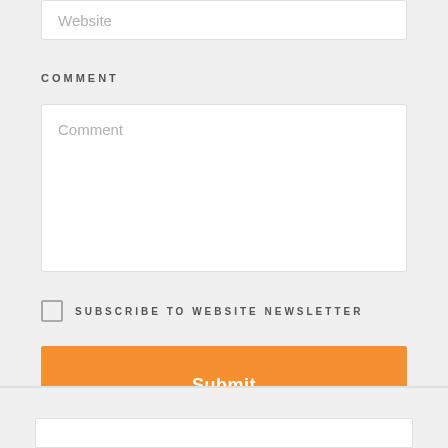Website
COMMENT
Comment
SUBSCRIBE TO WEBSITE NEWSLETTER
Submit